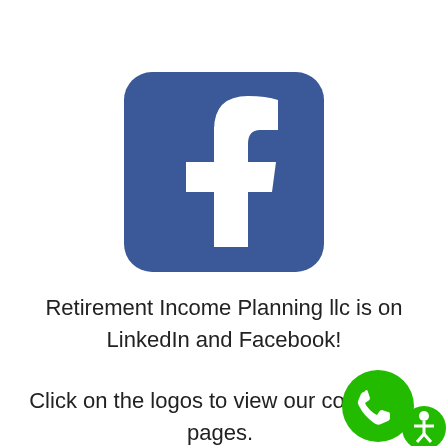[Figure (logo): Facebook logo: blue rounded square with white lowercase 'f']
Retirement Income Planning llc is on LinkedIn and Facebook!
Click on the logos to view our company pages.
[Figure (illustration): Green circle phone icon button and accessibility icon in bottom right corner]